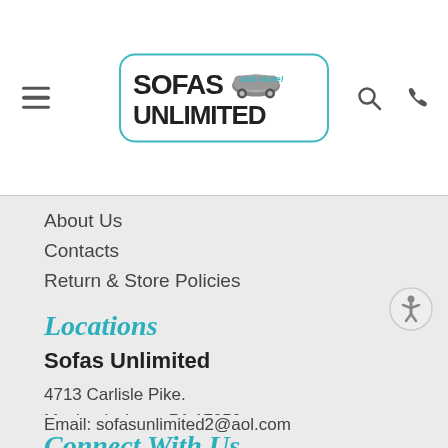[Figure (logo): Sofas Unlimited and more! logo with teal border and sofa graphic]
About Us
Contacts
Return & Store Policies
Locations
Sofas Unlimited
4713 Carlisle Pike.
Mechanicsburg, PA 17050
Phone: 717-761-7632
Email: sofasunlimited2@aol.com
Connect With Us